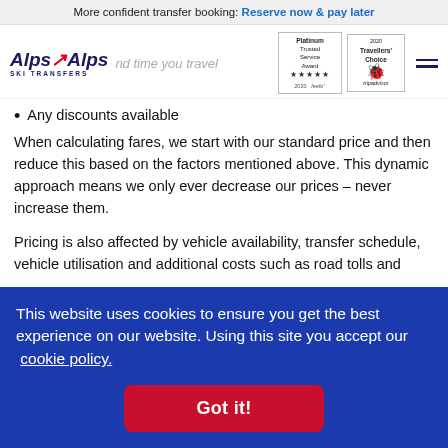More confident transfer booking: Reserve now & pay later
Alps2Alps SKI TRANSFERS | nd time you travel
Any discounts available
When calculating fares, we start with our standard price and then reduce this based on the factors mentioned above. This dynamic approach means we only ever decrease our prices – never increase them.
Pricing is also affected by vehicle availability, transfer schedule, vehicle utilisation and additional costs such as road tolls and
This website uses cookies to ensure you get the best experience on our website. Using this site you accept our cookie policy.
Got it!